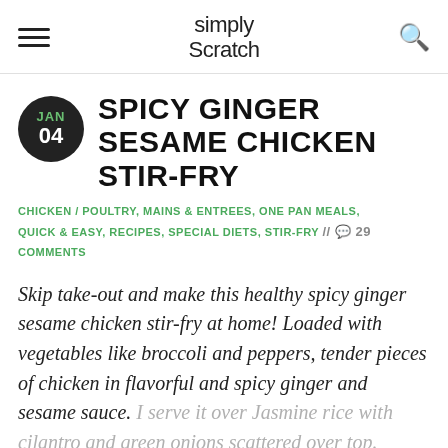Simply Scratch
SPICY GINGER SESAME CHICKEN STIR-FRY
CHICKEN / POULTRY, MAINS & ENTREES, ONE PAN MEALS, QUICK & EASY, RECIPES, SPECIAL DIETS, STIR-FRY // 29 COMMENTS
Skip take-out and make this healthy spicy ginger sesame chicken stir-fry at home! Loaded with vegetables like broccoli and peppers, tender pieces of chicken in flavorful and spicy ginger and sesame sauce. I serve it over Jasmine rice with cilantro and green onions scattered over top.